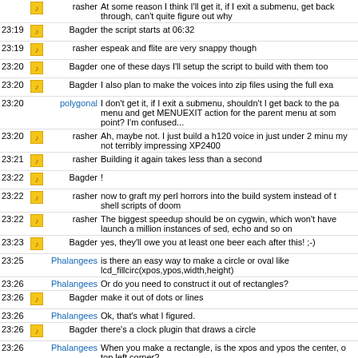| time | icon | nick | message |
| --- | --- | --- | --- |
|  |  | rasher | At some reason I think I'll get it, if I exit a submenu, get back through, can't quite figure out why |
| 23:19 | icon | Bagder | the script starts at 06:32 |
| 23:19 | icon | rasher | espeak and flite are very snappy though |
| 23:20 | icon | Bagder | one of these days I'll setup the script to build with them too |
| 23:20 | icon | Bagder | I also plan to make the voices into zip files using the full exa... |
| 23:20 |  | polygonal | I don't get it, if I exit a submenu, shouldn't I get back to the parent menu and get MENUEXIT action for the parent menu at some point? I'm confused... |
| 23:20 | icon | rasher | Ah, maybe not. I just build a h120 voice in just under 2 minutes on my not terribly impressing XP2400 |
| 23:21 | icon | rasher | Building it again takes less than a second |
| 23:22 | icon | Bagder | ! |
| 23:22 | icon | rasher | now to graft my perl horrors into the build system instead of the shell scripts of doom |
| 23:22 | icon | rasher | The biggest speedup should be on cygwin, which won't have to launch a million instances of sed, echo and so on |
| 23:23 | icon | Bagder | yes, they'll owe you at least one beer each after this! ;-) |
| 23:25 |  | Phalangees | is there an easy way to make a circle or oval like lcd_fillcirc(xpos,ypos,width,height) |
| 23:26 |  | Phalangees | Or do you need to construct it out of rectangles? |
| 23:26 | icon | Bagder | make it out of dots or lines |
| 23:26 |  | Phalangees | Ok, that's what I figured. |
| 23:26 | icon | Bagder | there's a clock plugin that draws a circle |
| 23:26 |  | Phalangees | When you make a rectangle, is the xpos and ypos the center, or top left corner? |